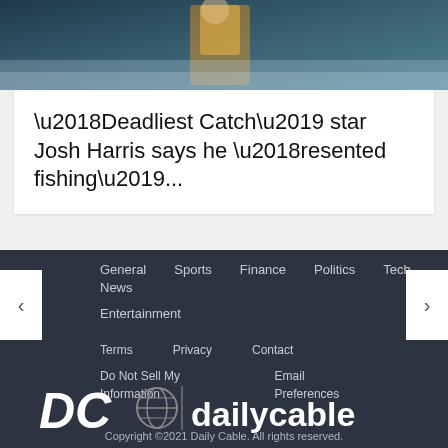[Figure (photo): Top portion of an image showing a person in orange pants near water/waves, from the Deadliest Catch TV show]
‘Deadliest Catch’ star Josh Harris says he ‘resented fishing’...
General News
Sports
Finance
Politics
Tech
Entertainment
Terms
Privacy
Contact
Do Not Sell My Information
Email Preferences
[Figure (logo): Daily Cable logo with DC globe icon and dailycable text]
Copyright ©2021 Daily Cable. All rights reserved.